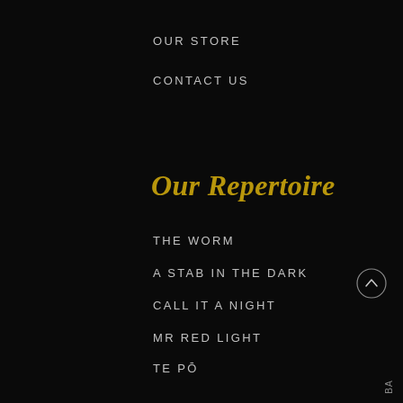OUR STORE
CONTACT US
Our Repertoire
THE WORM
A STAB IN THE DARK
CALL IT A NIGHT
MR RED LIGHT
TE PŌ
SPIRIT HOUSE
HEAD
360